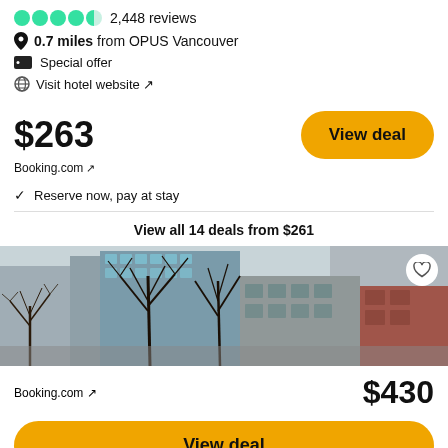2,448 reviews
0.7 miles from OPUS Vancouver
Special offer
Visit hotel website ↗
$263
Booking.com ↗
View deal
✓ Reserve now, pay at stay
View all 14 deals from $261
[Figure (photo): Exterior photo of a hotel building in an urban setting with bare winter trees in the foreground, showing modern glass and concrete architecture with a reddish building section on the right.]
Booking.com ↗
$430
View deal